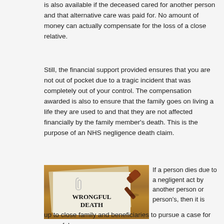is also available if the deceased cared for another person and that alternative care was paid for. No amount of money can actually compensate for the loss of a close relative.
Still, the financial support provided ensures that you are not out of pocket due to a tragic incident that was completely out of your control. The compensation awarded is also to ensure that the family goes on living a life they are used to and that they are not affected financially by the family member's death. This is the purpose of an NHS negligence death claim.
[Figure (photo): A legal document titled 'WRONGFUL DEATH' with a judge's gavel on a wooden desk background, with a paper clip visible on the document.]
If a person dies due to a negligent act by another person or person's, then it is
up to close family and beneficiaries to pursue a case for wrongful